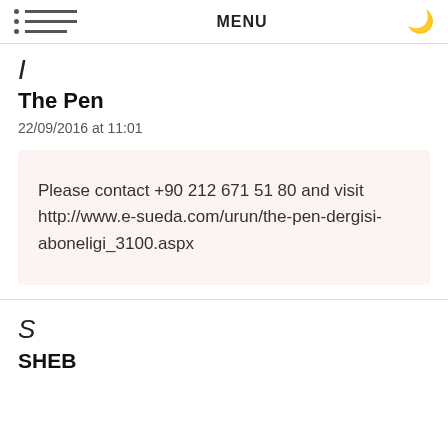MENU
I
The Pen
22/09/2016 at 11:01
Please contact +90 212 671 51 80 and visit http://www.e-sueda.com/urun/the-pen-dergisi-aboneligi_3100.aspx
S
SHEB